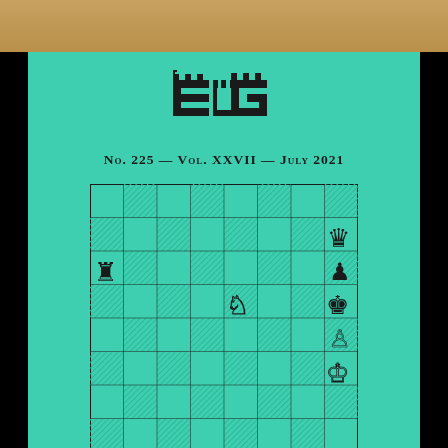[Figure (photo): Top strip showing blurred background photo]
[Figure (illustration): EG chess endgame journal cover, teal/turquoise background with logo, issue number No. 225 Vol. XXVII July 2021, and a chess endgame position diagram showing a chessboard with pieces: white rook on a6, white knight on e5, black queen on h7, black pawn on h6, black king on h5, white pawn on h4, white king on h3]
No. 225 — Vol. XXVII — July 2021